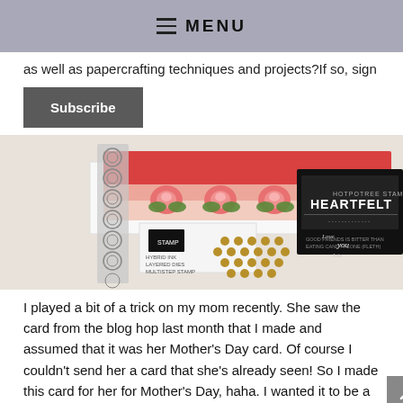≡ MENU
as well as papercrafting techniques and projects?If so, sign
Subscribe
[Figure (photo): Craft supplies photo showing floral cards with roses, metal embellishments, a die-cut lacy border, and a Heartfelt stamp set on a white surface.]
I played a bit of a trick on my mom recently. She saw the card from the blog hop last month that I made and assumed that it was her Mother's Day card. Of course I couldn't send her a card that she's already seen! So I made this card for her for Mother's Day, haha. I wanted it to be a surprise so I just let her